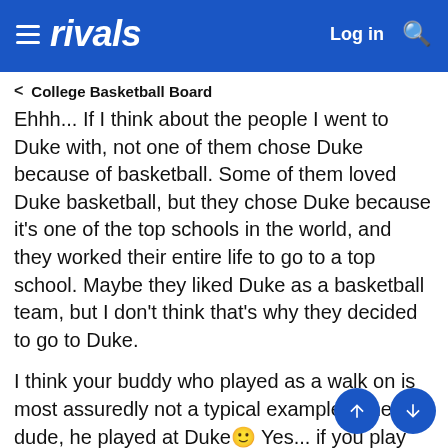rivals  Log in
< College Basketball Board
Ehhh... If I think about the people I went to Duke with, not one of them chose Duke because of basketball. Some of them loved Duke basketball, but they chose Duke because it's one of the top schools in the world, and they worked their entire life to go to a top school. Maybe they liked Duke as a basketball team, but I don't think that's why they decided to go to Duke.
I think your buddy who played as a walk on is most assuredly not a typical example. I mean... dude, he played at Duke🙂 Yes... if you play basketball at Duke, even as a walk on, you may have been thinking somewhat primarily about basketball when you decided on Duke. If you are any other Duke student, who was looking for a great engineering program or a top rate English department...